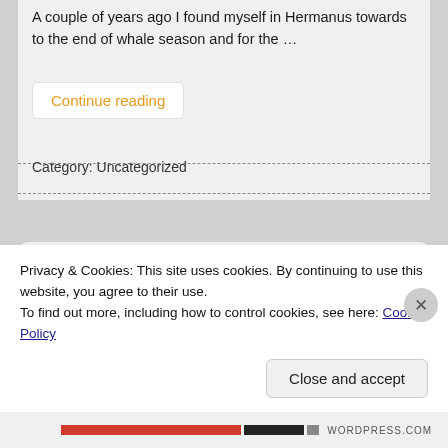A couple of years ago I found myself in Hermanus towards to the end of whale season and for the …
Continue reading
Category: Uncategorized
WHY STAY IN A GUESTHOUSE?
Leave a comment
Privacy & Cookies: This site uses cookies. By continuing to use this website, you agree to their use.
To find out more, including how to control cookies, see here: Cookie Policy
Close and accept